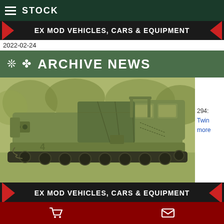STOCK
EX MOD VEHICLES, CARS & EQUIPMENT
2022-02-24
ARCHIVE NEWS
[Figure (photo): Military tracked vehicle (M270 or similar) in olive drab, photographed outdoors against foliage background, with canopy/tarp over rear section]
294:
Twin
more
EX MOD VEHICLES, CARS & EQUIPMENT
2022-01-10
ARCHIVE NEWS
Cart | Envelope